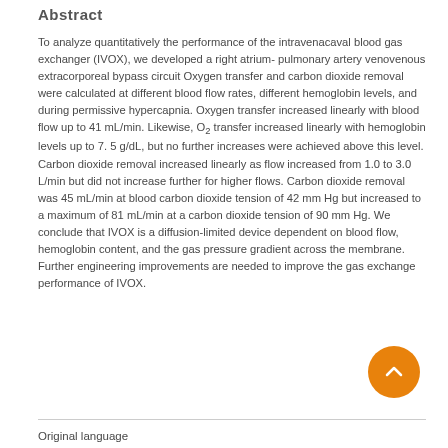Abstract
To analyze quantitatively the performance of the intravenacaval blood gas exchanger (IVOX), we developed a right atrium-pulmonary artery venovenous extracorporeal bypass circuit Oxygen transfer and carbon dioxide removal were calculated at different blood flow rates, different hemoglobin levels, and during permissive hypercapnia. Oxygen transfer increased linearly with blood flow up to 41 mL/min. Likewise, O₂ transfer increased linearly with hemoglobin levels up to 7. 5 g/dL, but no further increases were achieved above this level. Carbon dioxide removal increased linearly as flow increased from 1.0 to 3.0 L/min but did not increase further for higher flows. Carbon dioxide removal was 45 mL/min at blood carbon dioxide tension of 42 mm Hg but increased to a maximum of 81 mL/min at a carbon dioxide tension of 90 mm Hg. We conclude that IVOX is a diffusion-limited device dependent on blood flow, hemoglobin content, and the gas pressure gradient across the membrane. Further engineering improvements are needed to improve the gas exchange performance of IVOX.
Original language